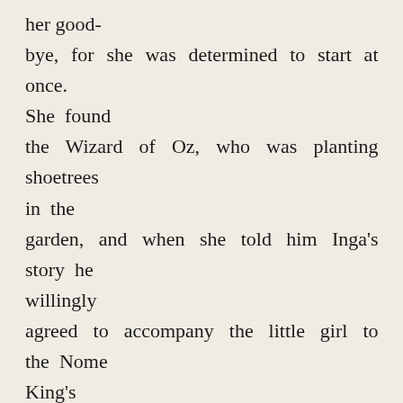her good-bye, for she was determined to start at once. She found the Wizard of Oz, who was planting shoetrees in the garden, and when she told him Inga's story he willingly agreed to accompany the little girl to the Nome King's caverns. They had both been there before and had conquered the nomes with ease, so they were